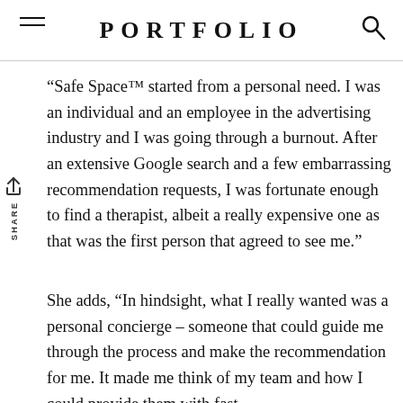PORTFOLIO
“Safe Space™ started from a personal need. I was an individual and an employee in the advertising industry and I was going through a burnout. After an extensive Google search and a few embarrassing recommendation requests, I was fortunate enough to find a therapist, albeit a really expensive one as that was the first person that agreed to see me.”
She adds, “In hindsight, what I really wanted was a personal concierge – someone that could guide me through the process and make the recommendation for me. It made me think of my team and how I could provide them with fast